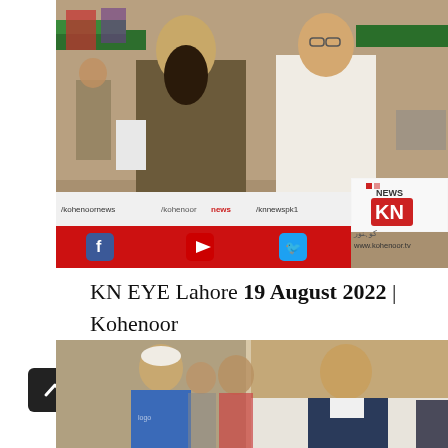[Figure (screenshot): TV news broadcast screenshot from Kohenoor News (KN) showing two men talking in a street market. Lower banner displays /kohenoornews /kohenoor news /knnewspk1 social media handles and www.kohenoor.tv website with Facebook, YouTube, Twitter icons.]
KN EYE Lahore 19 August 2022 | Kohenoor News Pakistan
[Figure (screenshot): Second TV news screenshot showing two men, one elderly in white cap and blue shirt, one in formal attire, standing together.]